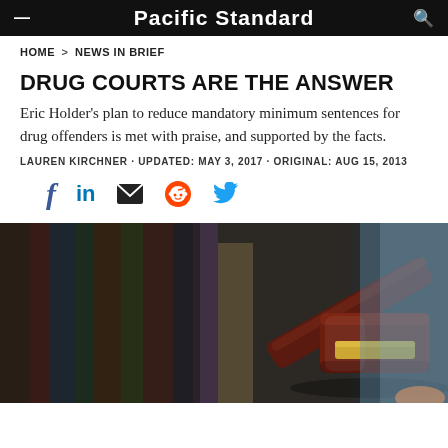Pacific Standard
HOME > NEWS IN BRIEF
DRUG COURTS ARE THE ANSWER
Eric Holder's plan to reduce mandatory minimum sentences for drug offenders is met with praise, and supported by the facts.
LAUREN KIRCHNER · UPDATED: MAY 3, 2017 · ORIGINAL: AUG 15, 2013
[Figure (infographic): Social share icons: Facebook, LinkedIn, Email, Reddit, Twitter]
[Figure (photo): Close-up photo of a wooden judge's gavel with a gold band, resting on a surface, with blurred law books in the background]